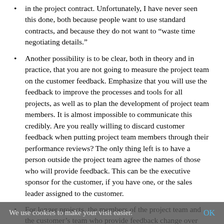in the project contract. Unfortunately, I have never seen this done, both because people want to use standard contracts, and because they do not want to “waste time negotiating details.”
Another possibility is to be clear, both in theory and in practice, that you are not going to measure the project team on the customer feedback. Emphasize that you will use the feedback to improve the processes and tools for all projects, as well as to plan the development of project team members. It is almost impossible to communicate this credibly. Are you really willing to discard customer feedback when putting project team members through their performance reviews? The only thing left is to have a person outside the project team agree the names of those who will provide feedback. This can be the executive sponsor for the customer, if you have one, or the sales leader assigned to the customer.
For longer projects, the members of the project team and the customer’s team who provide feedback change over time. It is quite common to see a